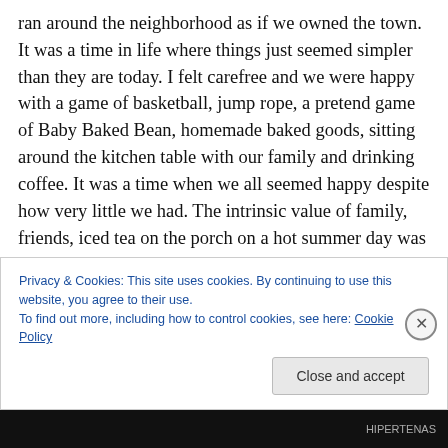ran around the neighborhood as if we owned the town. It was a time in life where things just seemed simpler than they are today. I felt carefree and we were happy with a game of basketball, jump rope, a pretend game of Baby Baked Bean, homemade baked goods, sitting around the kitchen table with our family and drinking coffee. It was a time when we all seemed happy despite how very little we had. The intrinsic value of family, friends, iced tea on the porch on a hot summer day was priceless.

There came a time in my childhood that would change all of our perception and...
Privacy & Cookies: This site uses cookies. By continuing to use this website, you agree to their use.
To find out more, including how to control cookies, see here: Cookie Policy
HIPERTENAS